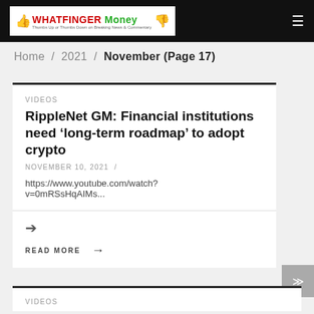WHATFINGER Money
Home / 2021 / November (Page 17)
VIDEOS
RippleNet GM: Financial institutions need ‘long-term roadmap’ to adopt crypto
NOVEMBER 10, 2021 /
https://www.youtube.com/watch?v=0mRSsHqAIMs...
READ MORE →
VIDEOS